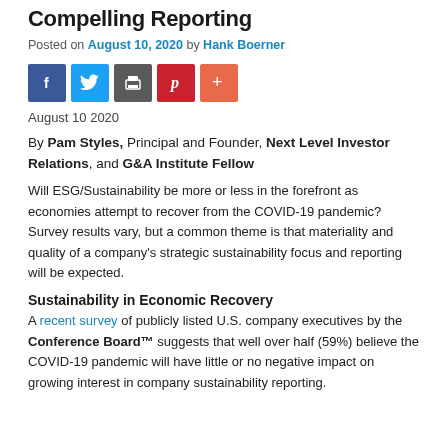Compelling Reporting
Posted on August 10, 2020 by Hank Boerner
[Figure (infographic): Social sharing buttons: Facebook (blue), Twitter (blue), Print (gray), Pinterest (red), More (orange-red)]
August 10 2020
By Pam Styles, Principal and Founder, Next Level Investor Relations, and G&A Institute Fellow
Will ESG/Sustainability be more or less in the forefront as economies attempt to recover from the COVID-19 pandemic?  Survey results vary, but a common theme is that materiality and quality of a company's strategic sustainability focus and reporting will be expected.
Sustainability in Economic Recovery
A recent survey of publicly listed U.S. company executives by the Conference Board™ suggests that well over half (59%) believe the COVID-19 pandemic will have little or no negative impact on growing interest in company sustainability reporting.